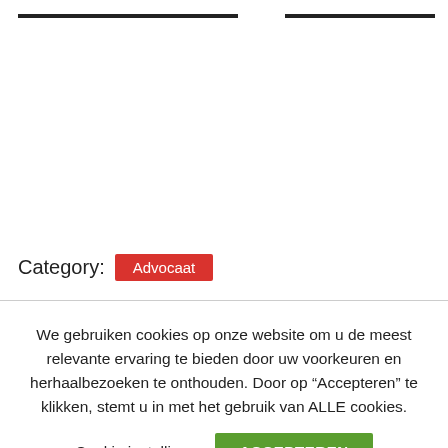[Figure (other): Two horizontal dark lines at the top of the page, separated by a gap]
Category: Advocaat
We gebruiken cookies op onze website om u de meest relevante ervaring te bieden door uw voorkeuren en herhaalbezoeken te onthouden. Door op “Accepteren” te klikken, stemt u in met het gebruik van ALLE cookies.
Cookie instellingen  ACCEPTEREN